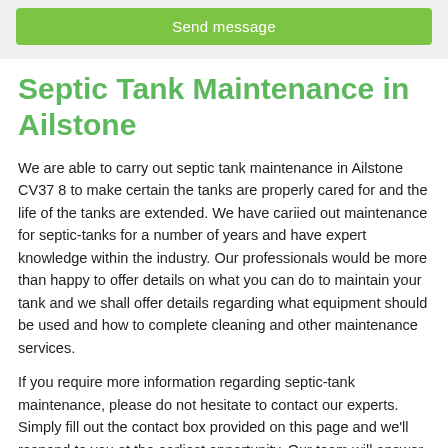[Figure (other): Green 'Send message' button on a light grey background]
Septic Tank Maintenance in Ailstone
We are able to carry out septic tank maintenance in Ailstone CV37 8 to make certain the tanks are properly cared for and the life of the tanks are extended. We have cariied out maintenance for septic-tanks for a number of years and have expert knowledge within the industry. Our professionals would be more than happy to offer details on what you can do to maintain your tank and we shall offer details regarding what equipment should be used and how to complete cleaning and other maintenance services.
If you require more information regarding septic-tank maintenance, please do not hesitate to contact our experts. Simply fill out the contact box provided on this page and we'll respond to you at the earliest opportunity. Our team will answer any questions or queries that you have and provide further detail on how to maintain septic-tanks, so please speak to us today.